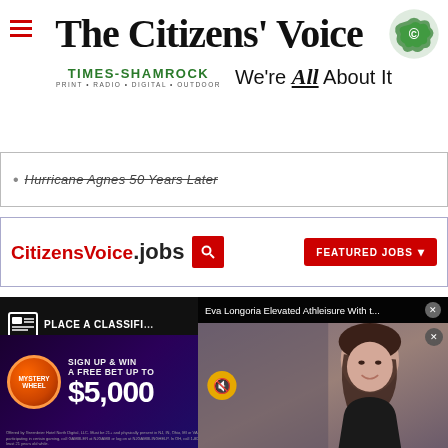The Citizens' Voice
TIMES-SHAMROCK PRINT · RADIO · DIGITAL · OUTDOOR  We're All About It
Hurricane Agnes 50 Years Later
[Figure (screenshot): CitizensVoice.jobs job search bar with FEATURED JOBS button]
[Figure (screenshot): Place a Classified ad banner (dark background)]
[Figure (screenshot): Eva Longoria Elevated Athleisure With t... video popup overlay showing woman smiling with mute button]
[Figure (advertisement): Hard Rock Sportsbook Mystery Wheel ad: SIGN UP & WIN A FREE BET UP TO $5,000 with DOWNLOAD NOW button]